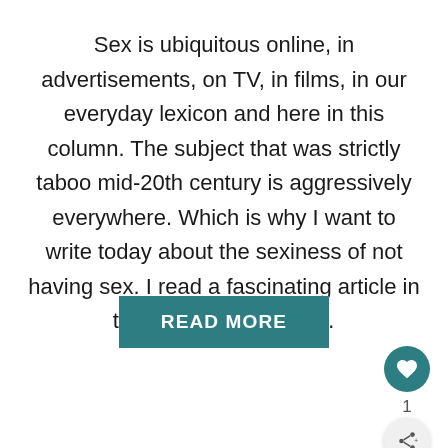Sex is ubiquitous online, in advertisements, on TV, in films, in our everyday lexicon and here in this column. The subject that was strictly taboo mid-20th century is aggressively everywhere. Which is why I want to write today about the sexiness of not having sex. I read a fascinating article in the New York Times …
READ MORE